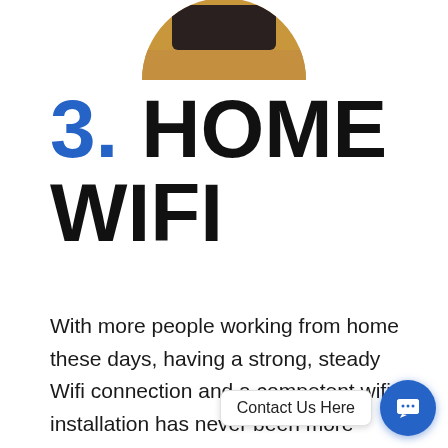[Figure (photo): Partial circular photo showing a wooden surface and a dark object at the top of the page]
3. HOME WIFI
With more people working from home these days, having a strong, steady Wifi connection and a competent wifi installation has never been more important. Installation services for WiFi Wi-Fi networks that are fully wired can reach every room in your home, workplace, even your backyard. In huge stone buildings,